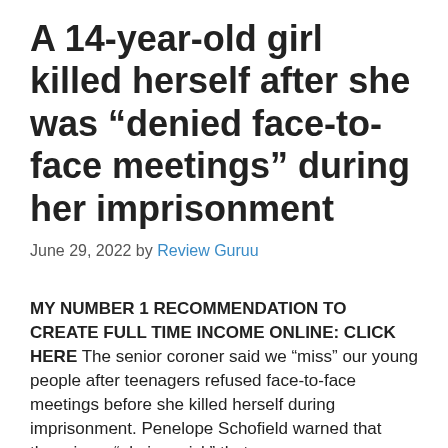A 14-year-old girl killed herself after she was “denied face-to-face meetings” during her imprisonment
June 29, 2022 by Review Guruu
MY NUMBER 1 RECOMMENDATION TO CREATE FULL TIME INCOME ONLINE: CLICK HERE The senior coroner said we “miss” our young people after teenagers refused face-to-face meetings before she killed herself during imprisonment. Penelope Schofield warned that there is an “obvious risk” that